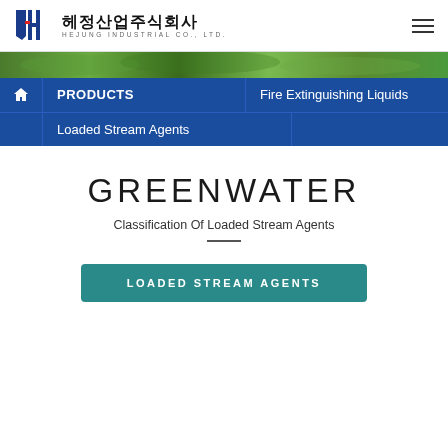헤정산업주식회사 HEJUNG INDUSTRIAL CO., LTD.
[Figure (screenshot): Green nature/leaf image strip used as decorative banner]
🏠 PRODUCTS | Fire Extinguishing Liquids
Loaded Stream Agents
GREENWATER
Classification Of Loaded Stream Agents
LOADED STREAM AGENTS